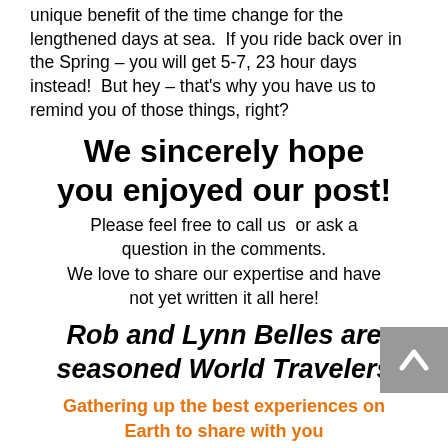unique benefit of the time change for the lengthened days at sea.  If you ride back over in the Spring – you will get 5-7, 23 hour days instead!  But hey – that's why you have us to remind you of those things, right?
We sincerely hope you enjoyed our post!
Please feel free to call us  or ask a question in the comments.
We love to share our expertise and have not yet written it all here!
Rob and Lynn Belles are seasoned World Travelers
Gathering up the best experiences on Earth to share with you
for the purpose of inspiring you to go